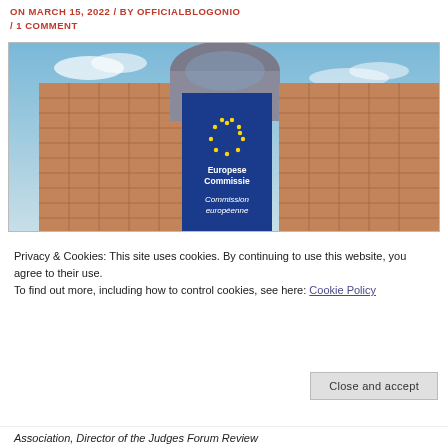ON MARCH 15, 2022 / BY OFFICIALBLOGONIO / 1 COMMENT
[Figure (photo): Exterior photograph of the European Commission (Berlaymont) building in Brussels. The building facade shows tan/terracotta brick paneling with glass and steel. A large blue banner with EU stars and text 'Europese Commissie / Commission européenne' is displayed prominently on the building.]
Privacy & Cookies: This site uses cookies. By continuing to use this website, you agree to their use.
To find out more, including how to control cookies, see here: Cookie Policy
Close and accept
Association, Director of the Judges Forum Review